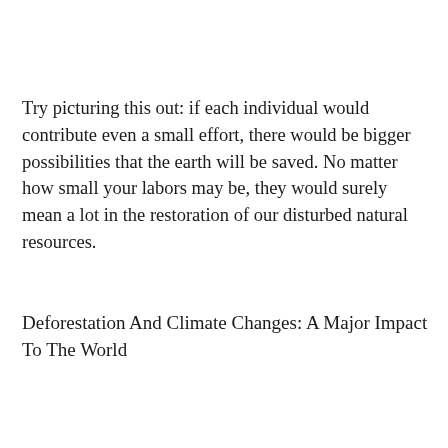Try picturing this out: if each individual would contribute even a small effort, there would be bigger possibilities that the earth will be saved. No matter how small your labors may be, they would surely mean a lot in the restoration of our disturbed natural resources.
Deforestation And Climate Changes: A Major Impact To The World
The planet was once protected with ancient forests; it has been a shelter to almost 50% of all the animals and plants confined in lands. Also, the worldwide population depends on them for survival. The most diverse ecological units exist in these forests, and they serve essential help to our planet especially in matters regulating the climate. This is